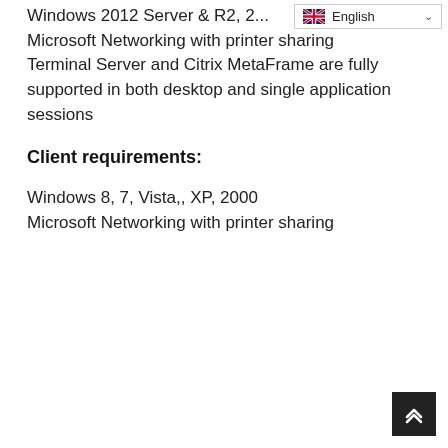[Figure (screenshot): English language selector dropdown with UK flag icon and chevron, positioned top-right]
Windows 2012 Server & R2, 2... Microsoft Networking with printer sharing Terminal Server and Citrix MetaFrame are fully supported in both desktop and single application sessions
Client requirements:
Windows 8, 7, Vista,, XP, 2000
Microsoft Networking with printer sharing